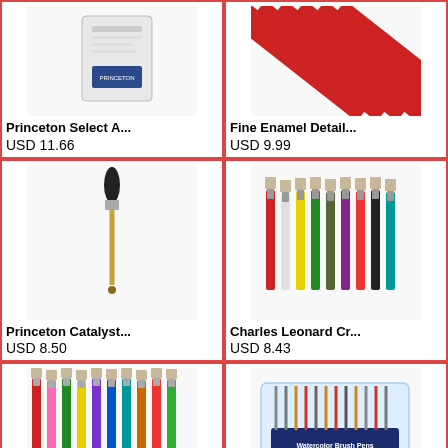[Figure (photo): Princeton Select A... art brush product image]
Princeton Select A...
USD 11.66
[Figure (photo): Fine Enamel Detail... red and white striped brushes]
Fine Enamel Detail...
USD 9.99
[Figure (photo): Princeton Catalyst single paint brush with gold handle]
Princeton Catalyst...
USD 8.50
[Figure (photo): Charles Leonard Cr... multicolor flat brushes set]
Charles Leonard Cr...
USD 8.43
[Figure (photo): Colorful flat paint brushes set with mixed handles]
[Figure (photo): Watercolor brush pens set in plastic case]